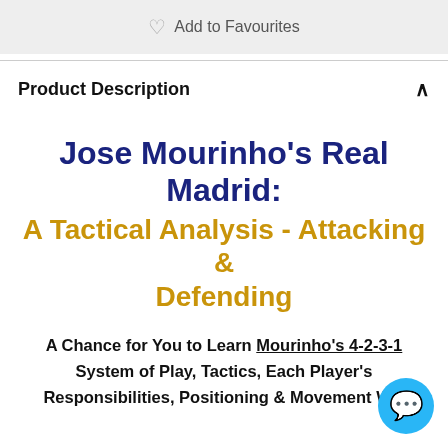[Figure (other): Add to Favourites button bar with heart icon]
Product Description
Jose Mourinho's Real Madrid: A Tactical Analysis - Attacking & Defending
A Chance for You to Learn Mourinho's 4-2-3-1 System of Play, Tactics, Each Player's Responsibilities, Positioning & Movement W...